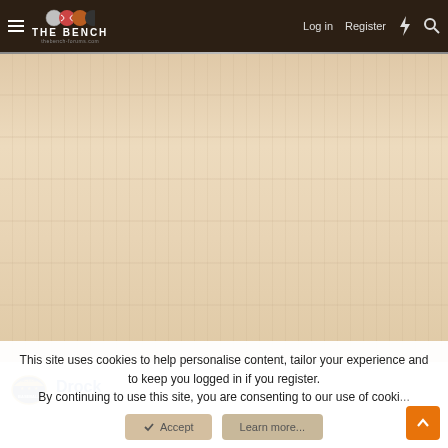THE BENCH — thebench-forums.com | Log in | Register
[Figure (screenshot): Wood grain texture background filling the main content area]
[Figure (logo): Action Baseball logo - small badge with stars and 'BASEBALL' text]
Drock
This site uses cookies to help personalise content, tailor your experience and to keep you logged in if you register.
By continuing to use this site, you are consenting to our use of cooki...
Accept
Learn more...